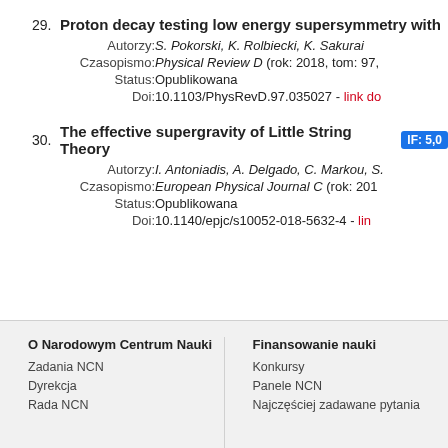29. Proton decay testing low energy supersymmetry with
Autorzy: S. Pokorski, K. Rolbiecki, K. Sakurai
Czasopismo: Physical Review D (rok: 2018, tom: 97,
Status: Opublikowana
Doi: 10.1103/PhysRevD.97.035027 - link do
30. The effective supergravity of Little String Theory IF: 5,0
Autorzy: I. Antoniadis, A. Delgado, C. Markou, S.
Czasopismo: European Physical Journal C (rok: 201
Status: Opublikowana
Doi: 10.1140/epjc/s10052-018-5632-4 - lin
O Narodowym Centrum Nauki
Zadania NCN
Dyrekcja
Rada NCN
Finansowanie nauki
Konkursy
Panele NCN
Najczęściej zadawane pytania